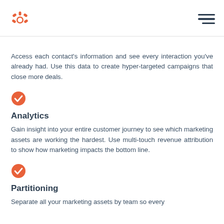HubSpot logo and navigation menu
Access each contact's information and see every interaction you've already had. Use this data to create hyper-targeted campaigns that close more deals.
[Figure (illustration): Orange circular checkmark icon]
Analytics
Gain insight into your entire customer journey to see which marketing assets are working the hardest. Use multi-touch revenue attribution to show how marketing impacts the bottom line.
[Figure (illustration): Orange circular checkmark icon]
Partitioning
Separate all your marketing assets by team so every